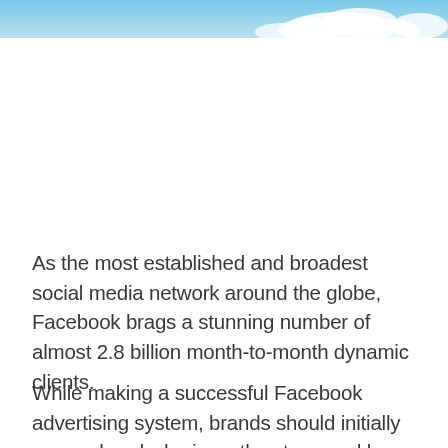[Figure (photo): Blue sky with clouds banner image at the top of the page]
As the most established and broadest social media network around the globe, Facebook brags a stunning number of almost 2.8 billion month-to-month dynamic clients.
While making a successful Facebook advertising system, brands should initially comprehend who is on the stage and how they're utilizing it. Here are 2-